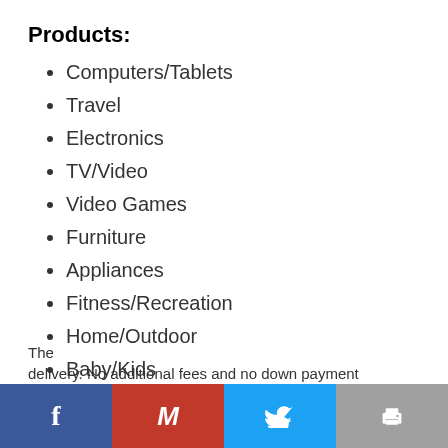Products:
Computers/Tablets
Travel
Electronics
TV/Video
Video Games
Furniture
Appliances
Fitness/Recreation
Home/Outdoor
Baby/Kids
All-Inclusive Pricing. No Additional Fees:
The... delivery. No additional fees and no down payment